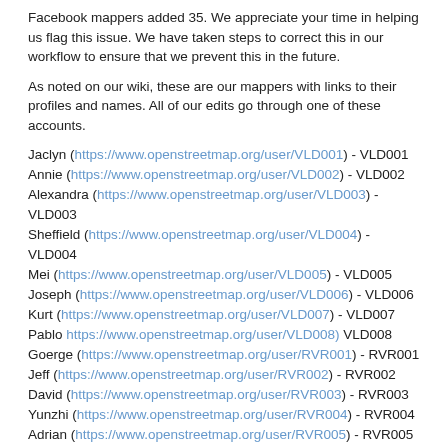Facebook mappers added 35. We appreciate your time in helping us flag this issue. We have taken steps to correct this in our workflow to ensure that we prevent this in the future.
As noted on our wiki, these are our mappers with links to their profiles and names. All of our edits go through one of these accounts.
Jaclyn (https://www.openstreetmap.org/user/VLD001) - VLD001
Annie (https://www.openstreetmap.org/user/VLD002) - VLD002
Alexandra (https://www.openstreetmap.org/user/VLD003) - VLD003
Sheffield (https://www.openstreetmap.org/user/VLD004) - VLD004
Mei (https://www.openstreetmap.org/user/VLD005) - VLD005
Joseph (https://www.openstreetmap.org/user/VLD006) - VLD006
Kurt (https://www.openstreetmap.org/user/VLD007) - VLD007
Pablo https://www.openstreetmap.org/user/VLD008) VLD008
Goerge (https://www.openstreetmap.org/user/RVR001) - RVR001
Jeff (https://www.openstreetmap.org/user/RVR002) - RVR002
David (https://www.openstreetmap.org/user/RVR003) - RVR003
Yunzhi (https://www.openstreetmap.org/user/RVR004) - RVR004
Adrian (https://www.openstreetmap.org/user/RVR005) - RVR005
Stefani (https://www.openstreetmap.org/user/RVR006) - RVR006
Mohamed (https://www.openstreetmap.org/user/RVR007) - RVR007
The following changeset comments are also built into the tools so any edit we make by default will contain #osroadimport #thailand